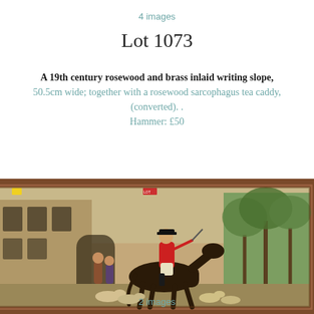4 images
Lot 1073
A 19th century rosewood and brass inlaid writing slope, 50.5cm wide; together with a rosewood sarcophagus tea caddy, (converted). . Hammer: £50
[Figure (photo): A framed hunting scene painting showing a man in a red coat on horseback, with hounds and figures in a courtyard setting. The painting has a dark wooden frame and is propped at a slight angle on a surface.]
2 images